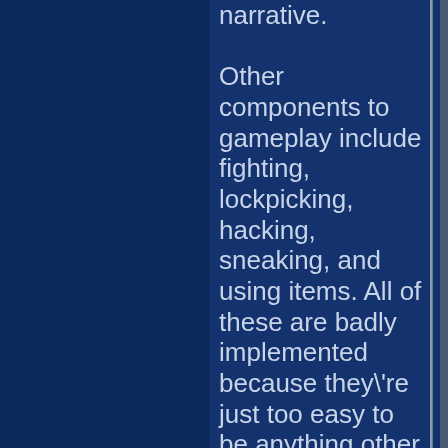narrative. Other components to gameplay include fighting, lockpicking, hacking, sneaking, and using items. All of these are badly implemented because they're just too easy to be anything other than tedious. The fighting, in